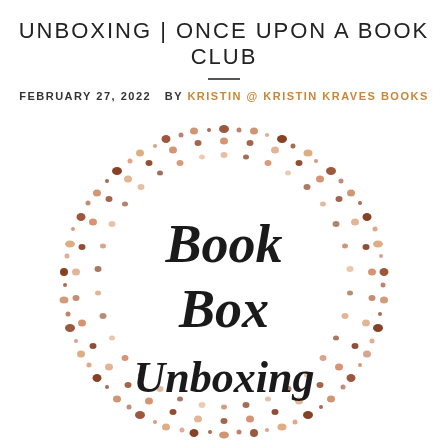UNBOXING | ONCE UPON A BOOK CLUB
FEBRUARY 27, 2022  BY KRISTIN @ KRISTIN KRAVES BOOKS
[Figure (illustration): A circular wreath-style border made of small dots/pebbles in various shades of brown, terracotta, and copper tones. Inside the circle, in a handwritten-style black script font, the text reads 'Book Box Unboxing'.]